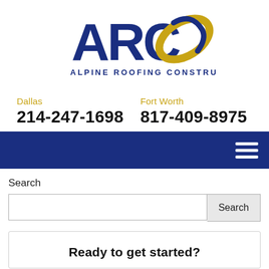[Figure (logo): ARC Alpine Roofing Construction logo with large dark blue ARC letters and a gold/blue swoosh oval graphic, and 'Alpine Roofing Construction' text below]
Dallas
214-247-1698
Fort Worth
817-409-8975
[Figure (other): Dark navy blue navigation bar with hamburger menu icon (three white horizontal lines) on the right side]
Search
Search
Ready to get started?